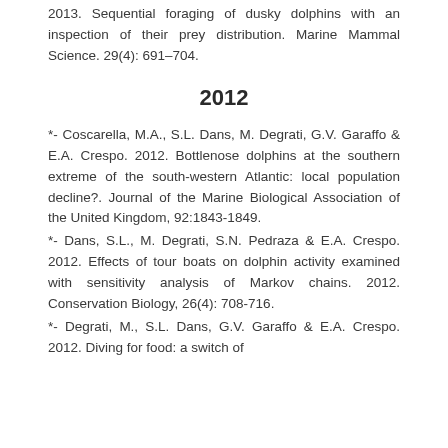2013. Sequential foraging of dusky dolphins with an inspection of their prey distribution. Marine Mammal Science. 29(4): 691–704.
2012
*- Coscarella, M.A., S.L. Dans, M. Degrati, G.V. Garaffo & E.A. Crespo. 2012. Bottlenose dolphins at the southern extreme of the south-western Atlantic: local population decline?. Journal of the Marine Biological Association of the United Kingdom, 92:1843-1849.
*- Dans, S.L., M. Degrati, S.N. Pedraza & E.A. Crespo. 2012. Effects of tour boats on dolphin activity examined with sensitivity analysis of Markov chains. 2012. Conservation Biology, 26(4): 708-716.
*- Degrati, M., S.L. Dans, G.V. Garaffo & E.A. Crespo. 2012. Diving for food: a switch of